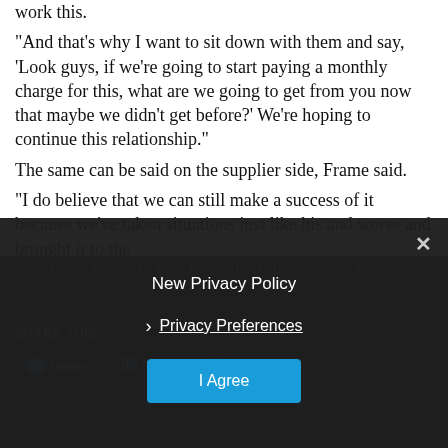work this.
“And that’s why I want to sit down with them and say, ‘Look guys, if we’re going to start paying a monthly charge for this, what are we going to get from you now that maybe we didn’t get before?’ We’re hoping to continue this relationship.”
The same can be said on the supplier side, Frame said.
“I do believe that we can still make a success of it because we’ve taken situations just like his and worse and brought it to the position it needs to be,” he said. “But it’s going to take
SHARE THIS:
Twitter  Facebook  LinkedIn
New Privacy Policy
Privacy Preferences
I Agree